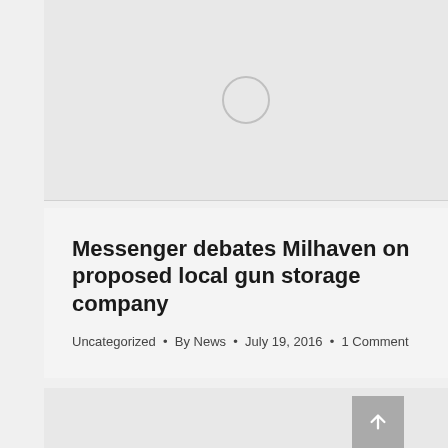[Figure (other): Gray placeholder image area with a circular loading spinner icon in the center]
Messenger debates Milhaven on proposed local gun storage company
Uncategorized • By News • July 19, 2016 • 1 Comment
[Figure (other): Gray placeholder image area at the bottom of the page with a back-to-top arrow button in the lower right corner]